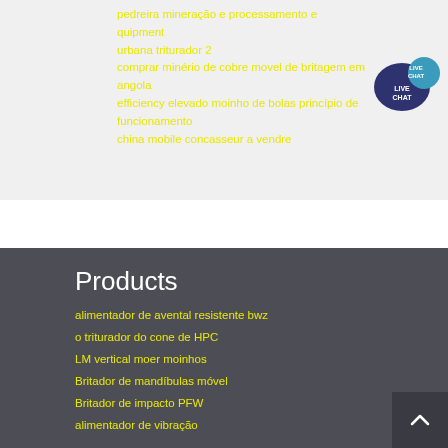pedreira mineração e processamento e quipment
urbana triturador 2
comprar minério de cobre movel de britagem em angola
efficiency elevado moinho de bolas princípio de funcionamento
china mobile concasseur a vendre
[Figure (illustration): Live chat speech bubble icon in dark navy blue with white text LIVE CHAT]
Products
alimentador de avental resistente bwz
o triturador do cone de HPC
LM vertical moer moinhos
Britador de mandíbulas móvel
Britador de impacto PFW
alimentador de vibração